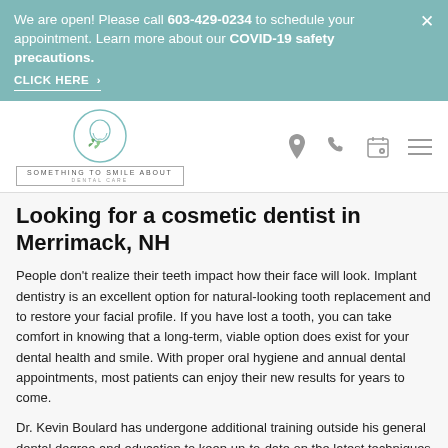We are open! Please call 603-429-0234 to schedule your appointment. Learn more about our COVID-19 safety precautions. CLICK HERE >
[Figure (logo): Something To Smile About Dental Care logo with circular tooth and leaf emblem and bordered text]
Looking for a cosmetic dentist in Merrimack, NH
People don't realize their teeth impact how their face will look. Implant dentistry is an excellent option for natural-looking tooth replacement and to restore your facial profile. If you have lost a tooth, you can take comfort in knowing that a long-term, viable option does exist for your dental health and smile. With proper oral hygiene and annual dental appointments, most patients can enjoy their new results for years to come.
Dr. Kevin Boulard has undergone additional training outside his general dental degree and education to keep up-to-date on the latest techniques to give Merrimack, NH